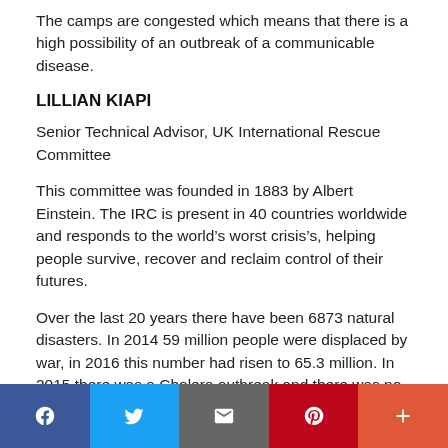The camps are congested which means that there is a high possibility of an outbreak of a communicable disease.
LILLIAN KIAPI
Senior Technical Advisor, UK International Rescue Committee
This committee was founded in 1883 by Albert Einstein. The IRC is present in 40 countries worldwide and responds to the world’s worst crisis’s, helping people survive, recover and reclaim control of their futures.
Over the last 20 years there have been 6873 natural disasters. In 2014 59 million people were displaced by war, in 2016 this number had risen to 65.3 million. In 2015 there was a Cholera outbreak and there was no preparation for this emergency. Ebola crisis struck in 2014 when the health system was weak and reported non communicable diseases (NCD) have doubled / tripled since the 1980’s in
Social share bar: Facebook, Twitter, Email, Pinterest, More